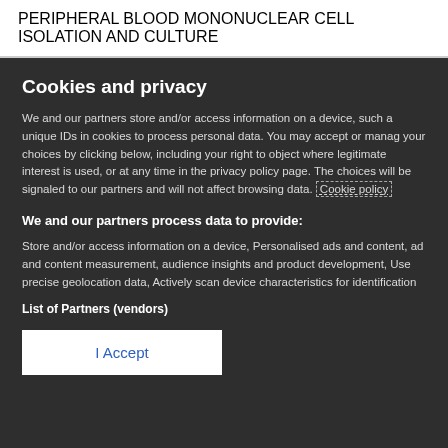PERIPHERAL BLOOD MONONUCLEAR CELL ISOLATION AND CULTURE
Cookies and privacy
We and our partners store and/or access information on a device, such as unique IDs in cookies to process personal data. You may accept or manage your choices by clicking below, including your right to object where legitimate interest is used, or at any time in the privacy policy page. These choices will be signaled to our partners and will not affect browsing data. Cookie policy
We and our partners process data to provide:
Store and/or access information on a device, Personalised ads and content, ad and content measurement, audience insights and product development, Use precise geolocation data, Actively scan device characteristics for identification
List of Partners (vendors)
I Accept